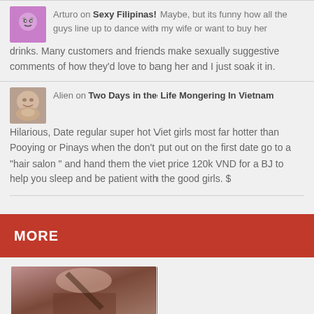Arturo on Sexy Filipinas! Maybe, but its funny how all the guys line up to dance with my wife or want to buy her drinks. Many customers and friends make sexually suggestive comments of how they'd love to bang her and I just soak it in.
Alien on Two Days in the Life Mongering In Vietnam Hilarious, Date regular super hot Viet girls most far hotter than Pooying or Pinays when the don't put out on the first date go to a "hair salon " and hand them the viet price 120k VND for a BJ to help you sleep and be patient with the good girls. $
MORE
[Figure (photo): Partial photo of a person at bottom of page]